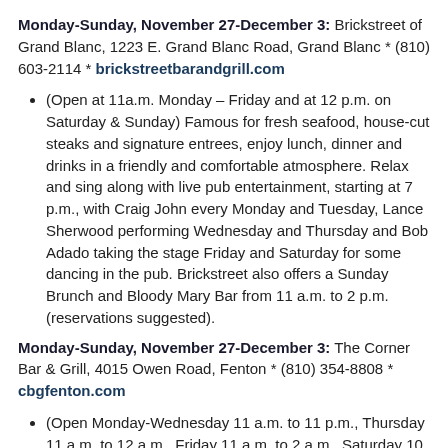Monday-Sunday, November 27-December 3: Brickstreet of Grand Blanc, 1223 E. Grand Blanc Road, Grand Blanc * (810) 603-2114 * brickstreetbarandgrill.com
(Open at 11a.m. Monday – Friday and at 12 p.m. on Saturday & Sunday) Famous for fresh seafood, house-cut steaks and signature entrees, enjoy lunch, dinner and drinks in a friendly and comfortable atmosphere. Relax and sing along with live pub entertainment, starting at 7 p.m., with Craig John every Monday and Tuesday, Lance Sherwood performing Wednesday and Thursday and Bob Adado taking the stage Friday and Saturday for some dancing in the pub. Brickstreet also offers a Sunday Brunch and Bloody Mary Bar from 11 a.m. to 2 p.m. (reservations suggested).
Monday-Sunday, November 27-December 3: The Corner Bar & Grill, 4015 Owen Road, Fenton * (810) 354-8808 * cbgfenton.com
(Open Monday-Wednesday 11 a.m. to 11 p.m., Thursday 11 a.m. to 12 a.m., Friday 11 a.m. to 2 a.m., Saturday 10 a.m. to 2 a.m.